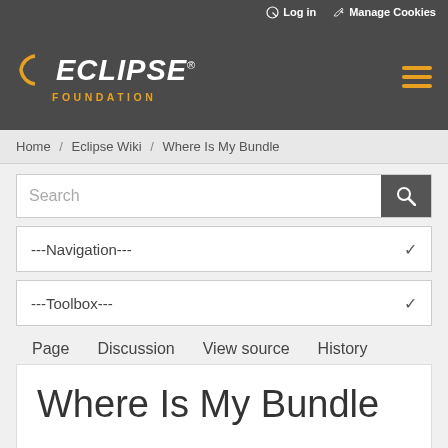Log in  Manage Cookies
[Figure (logo): Eclipse Foundation logo with arc symbol, white ECLIPSE text, orange FOUNDATION text]
Home / Eclipse Wiki / Where Is My Bundle
Search
---Navigation---
---Toolbox---
Page  Discussion  View source  History
Where Is My Bundle